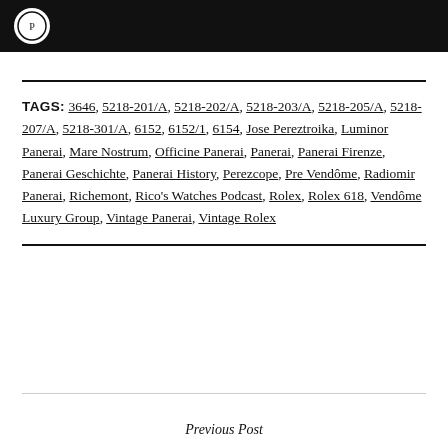TAGS: 3646, 5218-201/A, 5218-202/A, 5218-203/A, 5218-205/A, 5218-207/A, 5218-301/A, 6152, 6152/1, 6154, Jose Pereztroika, Luminor Panerai, Mare Nostrum, Officine Panerai, Panerai, Panerai Firenze, Panerai Geschichte, Panerai History, Perezcope, Pre Vendôme, Radiomir Panerai, Richemont, Rico's Watches Podcast, Rolex, Rolex 618, Vendôme Luxury Group, Vintage Panerai, Vintage Rolex
Previous Post